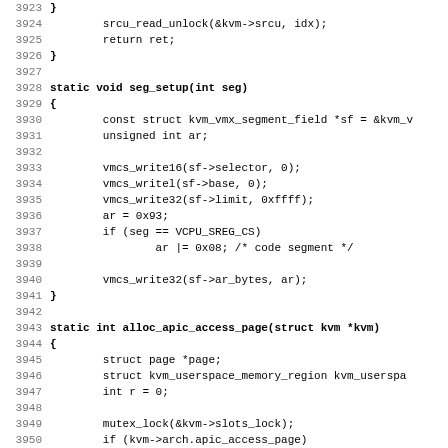[Figure (other): Source code listing showing C functions seg_setup and alloc_apic_access_page, lines 3923-3955]